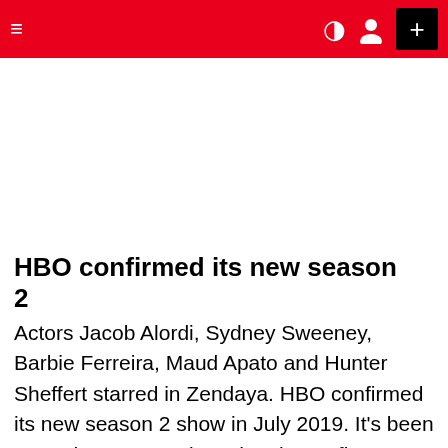≡  ) [user icon]  +
[Figure (other): White advertisement area below the red navigation bar]
HBO confirmed its new season 2
Actors Jacob Alordi, Sydney Sweeney, Barbie Ferreira, Maud Apato and Hunter Sheffert starred in Zendaya. HBO confirmed its new season 2 show in July 2019. It's been more than a year since the show's first season, so it makes sense for fans to have more information about the S2 version.